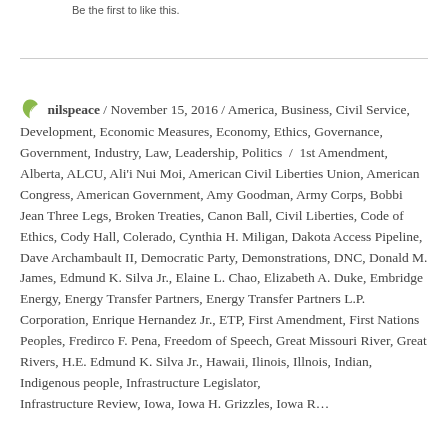Be the first to like this.
nilspeace / November 15, 2016 / America, Business, Civil Service, Development, Economic Measures, Economy, Ethics, Governance, Government, Industry, Law, Leadership, Politics / 1st Amendment, Alberta, ALCU, Ali'i Nui Moi, American Civil Liberties Union, American Congress, American Government, Amy Goodman, Army Corps, Bobbi Jean Three Legs, Broken Treaties, Canon Ball, Civil Liberties, Code of Ethics, Cody Hall, Colerado, Cynthia H. Miligan, Dakota Access Pipeline, Dave Archambault II, Democratic Party, Demonstrations, DNC, Donald M. James, Edmund K. Silva Jr., Elaine L. Chao, Elizabeth A. Duke, Embridge Energy, Energy Transfer Partners, Energy Transfer Partners L.P. Corporation, Enrique Hernandez Jr., ETP, First Amendment, First Nations Peoples, Fredirco F. Pena, Freedom of Speech, Great Missouri River, Great Rivers, H.E. Edmund K. Silva Jr., Hawaii, Ilinois, Illnois, Indian, Indigenous people, Infrastructure Legislator, Infrastructure Review, Iowa, Iowa H. Grizzles, Iowa R...